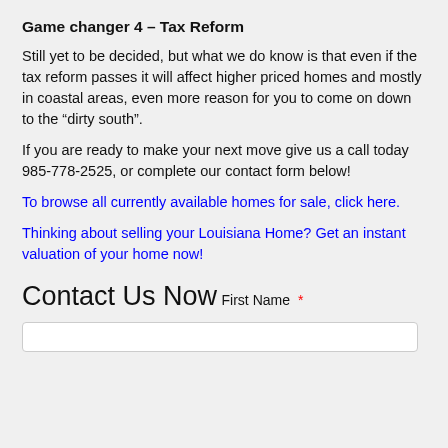Game changer 4 – Tax Reform
Still yet to be decided, but what we do know is that even if the tax reform passes it will affect higher priced homes and mostly in coastal areas, even more reason for you to come on down to the “dirty south”.
If you are ready to make your next move give us a call today 985-778-2525, or complete our contact form below!
To browse all currently available homes for sale, click here.
Thinking about selling your Louisiana Home? Get an instant valuation of your home now!
Contact Us Now
First Name *